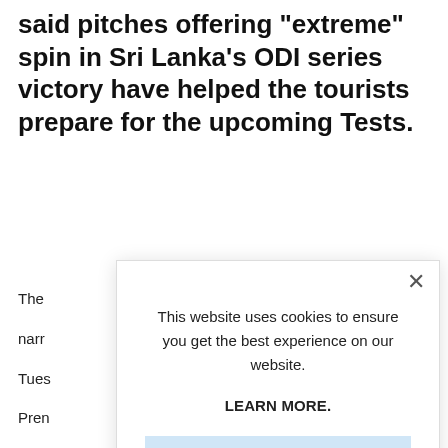said pitches offering "extreme" spin in Sri Lanka's ODI series victory have helped the tourists prepare for the upcoming Tests.
The narr Tues Pren
This website uses cookies to ensure you get the best experience on our website.

LEARN MORE.

ACCEPT COOKIES